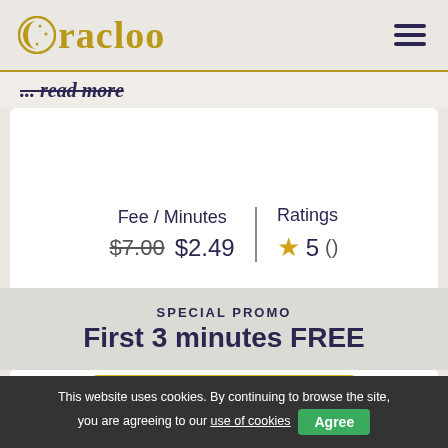[Figure (logo): Oracloo logo with golden crescent/moon icon and serif wordmark in gold]
... read more
View Profile
| Fee / Minutes | Ratings |
| --- | --- |
| $7.00 $2.49 | ★ 5  () |
SPECIAL PROMO
First 3 minutes FREE
CALL NOW
This website uses cookies. By continuing to browse the site, you are agreeing to our use of cookies  Agree